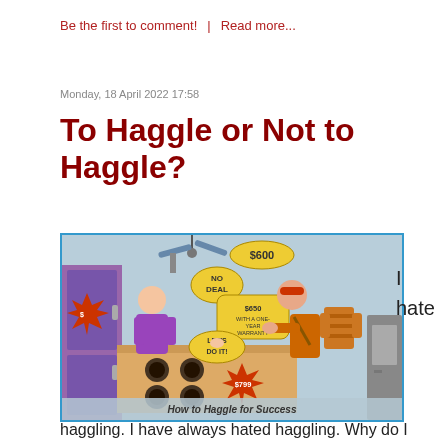Be the first to comment!  |  Read more...
Monday, 18 April 2022 17:58
To Haggle or Not to Haggle?
[Figure (illustration): Cartoon illustration of a haggling scene in a store. A salesperson in a purple shirt stands behind a counter with appliances. A woman in orange with a bag and a man in a striped shirt face her. Speech bubbles show $600, NO DEAL, $650 WITH A ONE-YEAR WARRANTY, LET'S DO IT!, and a price tag of $799. Caption reads: How to Haggle for Success.]
I hate
haggling. I have always hated haggling. Why do I dislike it so? In the first place, haggling seems like